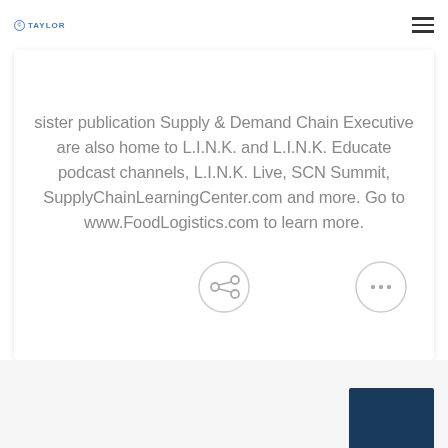©TAYLOR
sister publication Supply & Demand Chain Executive are also home to L.I.N.K. and L.I.N.K. Educate podcast channels, L.I.N.K. Live, SCN Summit, SupplyChainLearningCenter.com and more. Go to www.FoodLogistics.com to learn more.
[Figure (illustration): Share button — circular outlined icon with share/network symbol]
[Figure (illustration): Chat button — circular outlined icon with speech bubble / ellipsis symbol]
[Figure (photo): Bottom partial image strip showing dark navy blue background, partial content visible]